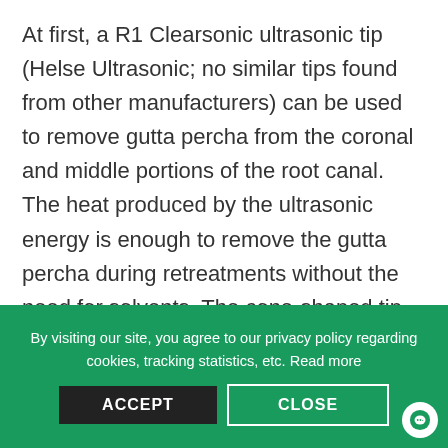At first, a R1 Clearsonic ultrasonic tip (Helse Ultrasonic; no similar tips found from other manufacturers) can be used to remove gutta percha from the coronal and middle portions of the root canal. The heat produced by the ultrasonic energy is enough to remove the gutta percha during retreatments without the need for solvents. The cone-shaped tip end allows the practitioner to “fish” the already softened gutta-percha mass out of the canal.
By visiting our site, you agree to our privacy policy regarding cookies, tracking statistics, etc. Read more
ACCEPT
CLOSE